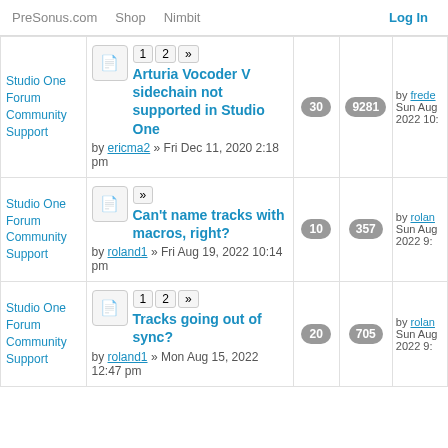PreSonus.com  Shop  Nimbit  Log In
Studio One Forum Community Support | Arturia Vocoder V sidechain not supported in Studio One | by ericma2 » Fri Dec 11, 2020 2:18 pm | 30 replies | 9281 views | by frede Sun Aug 2022 10:
Studio One Forum Community Support | Can't name tracks with macros, right? | by roland1 » Fri Aug 19, 2022 10:14 pm | 10 replies | 357 views | by rolan Sun Aug 2022 9:
Studio One Forum Community Support | Tracks going out of sync? | by roland1 » Mon Aug 15, 2022 12:47 pm | 20 replies | 705 views | by rolan Sun Aug 2022 9: